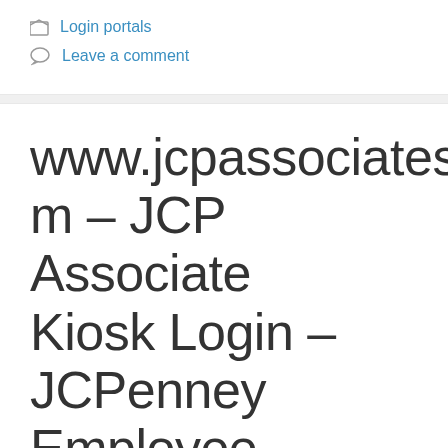Login portals
Leave a comment
www.jcpassociates.com – JCP Associate Kiosk Login – JCPenney Employee Kiosk Login [2022]
June 4, 2022 by admins
www.jcassociates.com – JCP Associate Kiosk